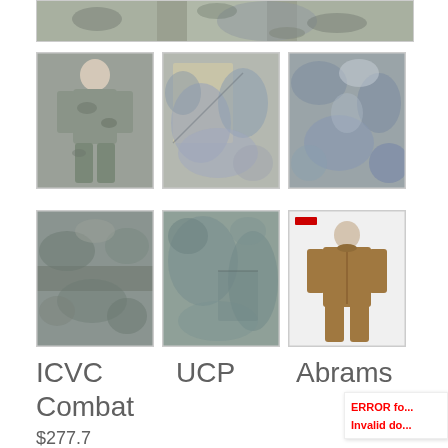[Figure (photo): Top banner image showing military camouflage uniform (ACU/UCP pattern), partially cropped]
[Figure (photo): Thumbnail 1: Full body shot of person wearing ACU camouflage uniform]
[Figure (photo): Thumbnail 2: Close-up detail of ACU camouflage fabric with tan/grey pattern]
[Figure (photo): Thumbnail 3: Close-up of grey/blue-grey camouflage fabric texture]
[Figure (photo): Thumbnail 4: Close-up of waist/belt area of camouflage uniform]
[Figure (photo): Thumbnail 5: Close-up of pocket/side area of camouflage uniform]
[Figure (photo): Thumbnail 6: Full body shot of Abrams suit - brown/tan one-piece coverall]
ICVC Combat
UCP
Abrams
$277.7
ERROR fo... Invalid do...